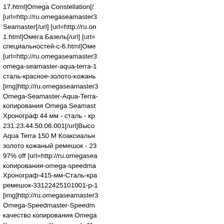17.html]Omega Constellation[/ [url=http://ru.omegaseamaster3 Seamaster[/url] [url=http://ru.on 1.html]Омега Базель[/url] [url= специальностей-с-6.html]Оме [url=http://ru.omegaseamaster3 omega-seamaster-aqua-terra-1 сталь-красное-золото-кожань [img]http://ru.omegaseamaster3 Omega-Seamaster-Aqua-Terra- копирования Omega Seamast Хронограф 44 мм - сталь - кр 231.23.44.50.06.001[/url]Высо Aqua Terra 150 М Коаксиальн золото кожаный ремешок - 23 97% off [url=http://ru.omegasea копирования-omega-speedma Хронограф-415-мм-Сталь-кра ремешок-33122425101001-р-1 [img]http://ru.omegaseamaster3 Omega-Speedmaster-Speedm качество копирования Omega Коаксиальная Хронограф 41, 331.23.42.51.01...